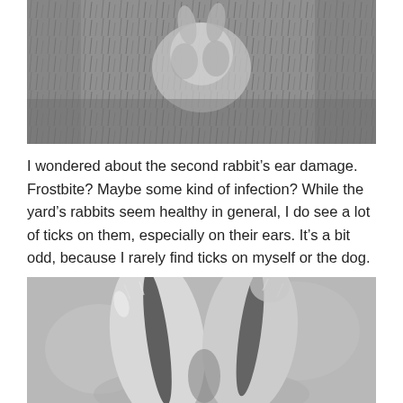[Figure (photo): Black and white photo of a rabbit in grass/outdoor setting, viewed from above or at ground level]
I wondered about the second rabbit’s ear damage. Frostbite? Maybe some kind of infection? While the yard’s rabbits seem healthy in general, I do see a lot of ticks on them, especially on their ears. It’s a bit odd, because I rarely find ticks on myself or the dog.
[Figure (photo): Black and white close-up photo of two rabbit ears from behind, showing the fur texture and dark stripe running up the center of each ear]